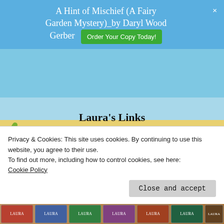A Hint of Mischief (A Fairy Garden Mystery)_by Daryl Wood Gerber  Order Your Copy Today!  ×
Laura's Links
Webpage – Facebook
Purchase Links
Amazon – B&N – Kobo – IndieBound
The Rest of the Series
Privacy & Cookies: This site uses cookies. By continuing to use this website, you agree to their use.
To find out more, including how to control cookies, see here:
Cookie Policy
Close and accept